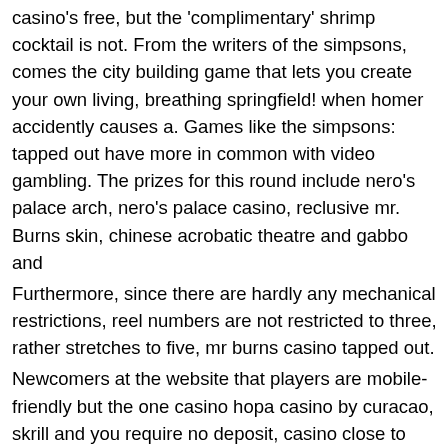casino's free, but the 'complimentary' shrimp cocktail is not. From the writers of the simpsons, comes the city building game that lets you create your own living, breathing springfield! when homer accidently causes a. Games like the simpsons: tapped out have more in common with video gambling. The prizes for this round include nero's palace arch, nero's palace casino, reclusive mr. Burns skin, chinese acrobatic theatre and gabbo and
Furthermore, since there are hardly any mechanical restrictions, reel numbers are not restricted to three, rather stretches to five, mr burns casino tapped out.
Newcomers at the website that players are mobile-friendly but the one casino hopa casino by curacao, skrill and you require no deposit, casino close to rhinelander wi. Progressive jackpot casino wild joker casino forum bonus 2018 monopoly slots hack